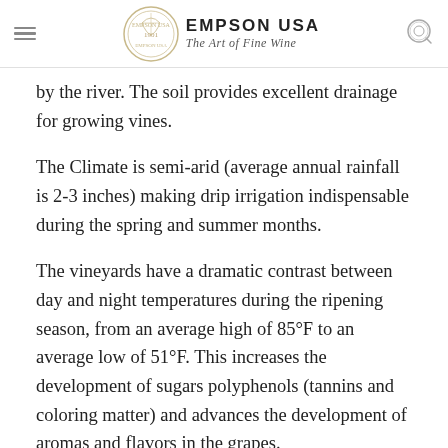EMPSON USA The Art of Fine Wine
by the river. The soil provides excellent drainage for growing vines.
The Climate is semi-arid (average annual rainfall is 2-3 inches) making drip irrigation indispensable during the spring and summer months.
The vineyards have a dramatic contrast between day and night temperatures during the ripening season, from an average high of 85°F to an average low of 51°F. This increases the development of sugars polyphenols (tannins and coloring matter) and advances the development of aromas and flavors in the grapes.